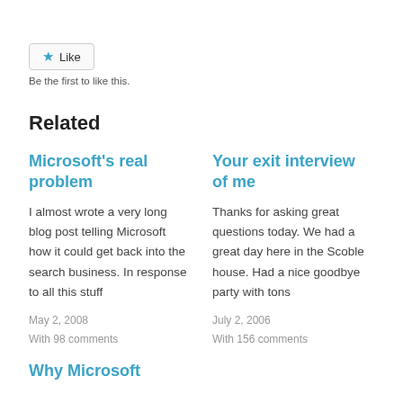[Figure (other): Like button with blue star icon and text 'Like', styled as a button widget]
Be the first to like this.
Related
Microsoft's real problem
I almost wrote a very long blog post telling Microsoft how it could get back into the search business. In response to all this stuff
May 2, 2008
With 98 comments
Your exit interview of me
Thanks for asking great questions today. We had a great day here in the Scoble house. Had a nice goodbye party with tons
July 2, 2006
With 156 comments
Why Microsoft